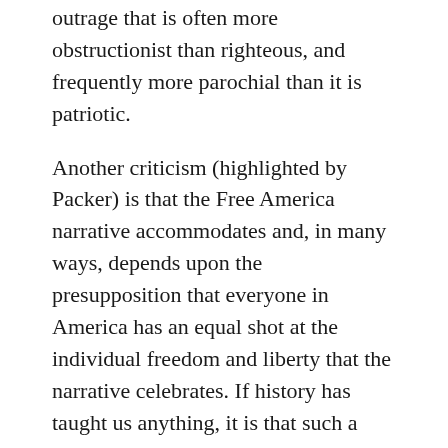outrage that is often more obstructionist than righteous, and frequently more parochial than it is patriotic.
Another criticism (highlighted by Packer) is that the Free America narrative accommodates and, in many ways, depends upon the presupposition that everyone in America has an equal shot at the individual freedom and liberty that the narrative celebrates. If history has taught us anything, it is that such a presupposition is not grounded in truth.
Packer entitles the second narrative “Smart America.” Emphasizing higher education, professional advancement, cultural engagement, and the nurturing of expertise